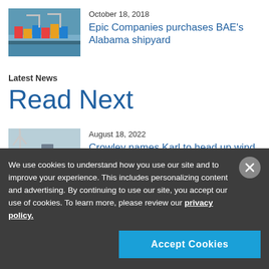[Figure (photo): Aerial photo of a port/shipyard with colorful shipping containers and cranes]
October 18, 2018
Epic Companies purchases BAE's Alabama shipyard
Latest News
Read Next
[Figure (photo): Photo of a ship or vessel near a dock with wind energy infrastructure]
August 18, 2022
Crowley names Karl to head up wind
We use cookies to understand how you use our site and to improve your experience. This includes personalizing content and advertising. By continuing to use our site, you accept our use of cookies. To learn more, please review our privacy policy.